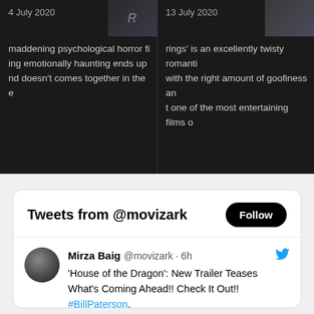[Figure (screenshot): Two dark-background movie review snippets side by side. Left: '4 July 2020' with text about 'maddening psychological horror fi... ing emotionally haunting ends up... nd doesn't comes together in the e'. Right: '13 July 2020' with text 'rings' is an excellently twisty romanti... with the right amount of goofiness an... t one of the most entertaining films o'.]
[Figure (screenshot): Twitter widget showing 'Tweets from @movizark' with a Follow button. Tweet by Mirza Baig @movizark · 6h: ''House of the Dragon': New Trailer Teases What's Coming Ahead!! Check It Out!! #BillPaterson, #DavidHorovitch, #EmilyCarey, #EmmaDArcy, #EveBest, #GameofThrones, #GavinSpokes, #GrahamMcTavish, #HBO, #HBOMax, #HouseofTheDragon, #JeffersonHall,... movizark.com/2022/08/23/hou…' with a partial image preview below.]